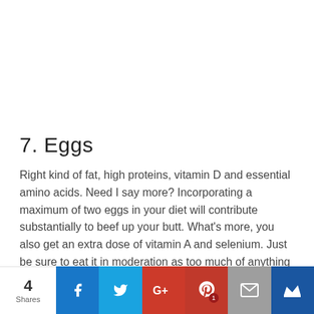7. Eggs
Right kind of fat, high proteins, vitamin D and essential amino acids. Need I say more? Incorporating a maximum of two eggs in your diet will contribute substantially to beef up your butt. What's more, you also get an extra dose of vitamin A and selenium. Just be sure to eat it in moderation as too much of anything is poisonous. A boiled or poached egg is preferable to fried eggs
4 Shares | Facebook | Twitter | Google+ | Pinterest 1 | Email | Crown